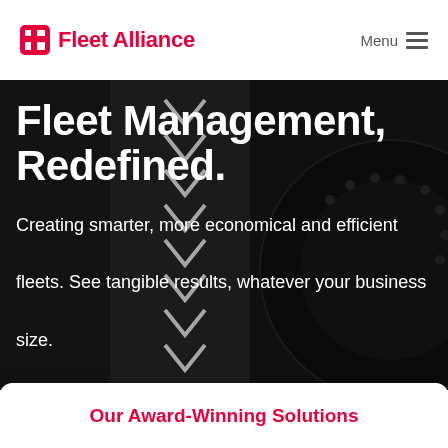[Figure (logo): Fleet Alliance logo with red grid icon and red text]
Menu
[Figure (photo): Aerial view of a dark road with white chevron road markings and a large tire visible on the right side, serving as hero background image]
Fleet Management, Redefined.
Creating smarter, more economical and efficient fleets. See tangible results, whatever your business size.
Our Award-Winning Solutions